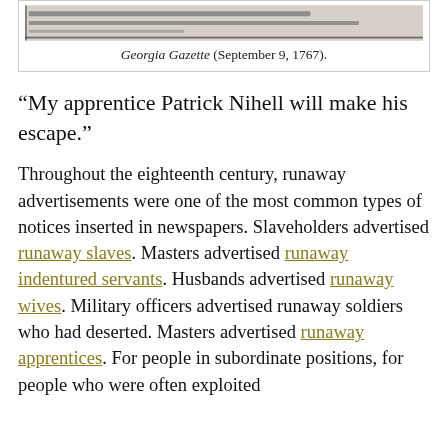[Figure (photo): Scanned historical newspaper clipping showing handwritten or printed text, partially legible.]
Georgia Gazette (September 9, 1767).
“My apprentice Patrick Nihell will make his escape.”
Throughout the eighteenth century, runaway advertisements were one of the most common types of notices inserted in newspapers. Slaveholders advertised runaway slaves. Masters advertised runaway indentured servants. Husbands advertised runaway wives. Military officers advertised runaway soldiers who had deserted. Masters advertised runaway apprentices. For people in subordinate positions, for people who were often exploited